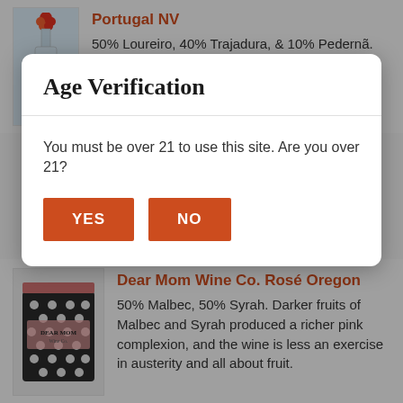[Figure (illustration): Partial view of a wine bottle with blue label and red floral top, cut off by modal overlay]
Portugal NV
50% Loureiro, 40% Trajadura, & 10% Pedernã. Clear, lemon green in
Age Verification
You must be over 21 to use this site. Are you over 21?
YES
NO
[Figure (photo): Box of Dear Mom Wine Co. rosé wine with black and white polka dot packaging, pink accents]
Dear Mom Wine Co. Rosé Oregon
50% Malbec, 50% Syrah. Darker fruits of Malbec and Syrah produced a richer pink complexion, and the wine is less an exercise in austerity and all about fruit.